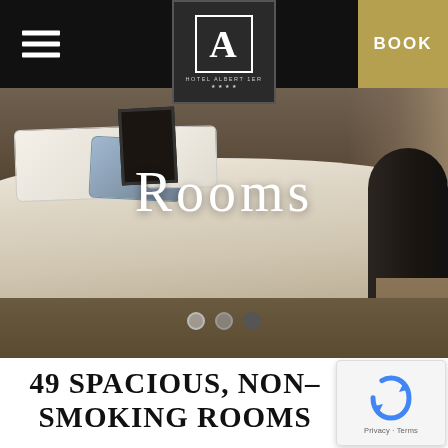Hotel Albert 1er navigation bar with hamburger menu, logo, and BOOK button
[Figure (photo): Hotel room photo showing a large bed with white linens, decorative pillows including a blue pillow, dark curtains on the right, and a dark armchair. Overlay text reads 'Rooms' in large white letters. Three carousel navigation dots are visible below.]
Rooms
49 SPACIOUS, NON-SMOKING ROOMS